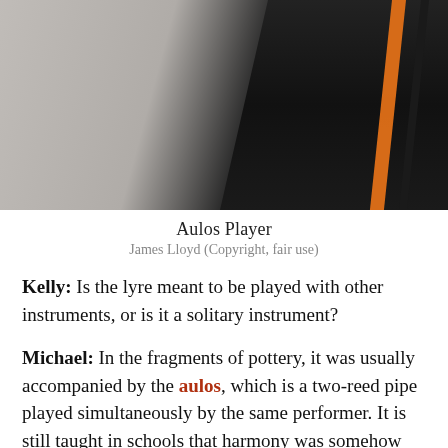[Figure (photo): Photo of an aulos player, dark background with an orange curved element visible on the right side against a grey wall background.]
Aulos Player
James Lloyd (Copyright, fair use)
Kelly: Is the lyre meant to be played with other instruments, or is it a solitary instrument?
Michael: In the fragments of pottery, it was usually accompanied by the aulos, which is a two-reed pipe played simultaneously by the same performer. It is still taught in schools that harmony was somehow mystically invented in the Middle Ages, but it was not! The whole thing is a